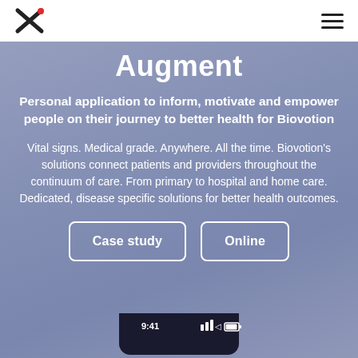Augment — navigation with logo and hamburger menu
Augment
Personal application to inform, motivate and empower people on their journey to better health for Biovotion
Vital signs. Medical grade. Anywhere. All the time. Biovotion's solutions connect patients and providers throughout the continuum of care. From primary to hospital and home care. Dedicated, disease specific solutions for better health outcomes.
Case study | Online
[Figure (photo): Bottom portion of a smartphone showing status bar with time 9:41, signal bars, WiFi and battery icons on a dark-colored phone frame.]